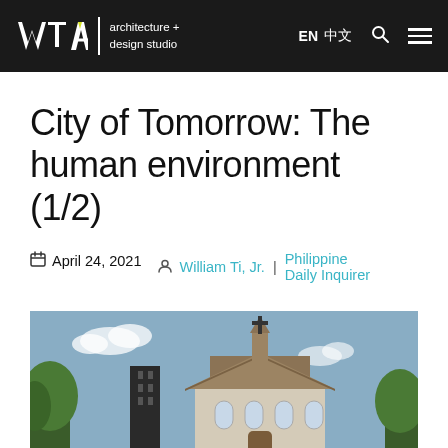WTA architecture + design studio | EN 中文
City of Tomorrow: The human environment (1/2)
April 24, 2021  William Ti, Jr. | Philippine Daily Inquirer
[Figure (photo): Exterior view of a church building with a cross on the steeple, surrounded by trees against a blue sky with clouds]